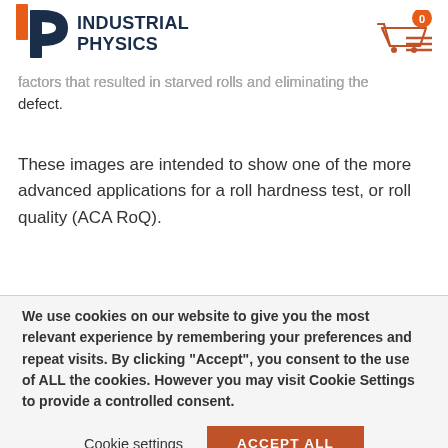INDUSTRIAL PHYSICS
factors that resulted in starved rolls and eliminating the defect.
These images are intended to show one of the more advanced applications for a roll hardness test, or roll quality (ACA RoQ).
We use cookies on our website to give you the most relevant experience by remembering your preferences and repeat visits. By clicking “Accept”, you consent to the use of ALL the cookies. However you may visit Cookie Settings to provide a controlled consent.